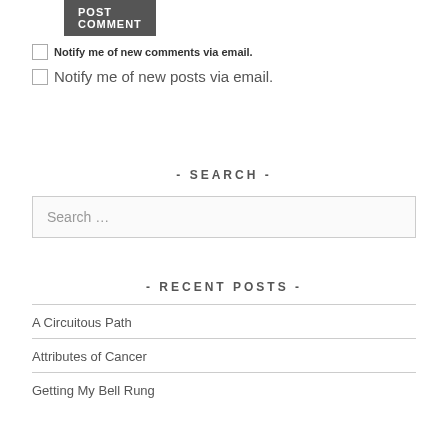POST COMMENT
Notify me of new comments via email.
Notify me of new posts via email.
- SEARCH -
Search …
- RECENT POSTS -
A Circuitous Path
Attributes of Cancer
Getting My Bell Rung